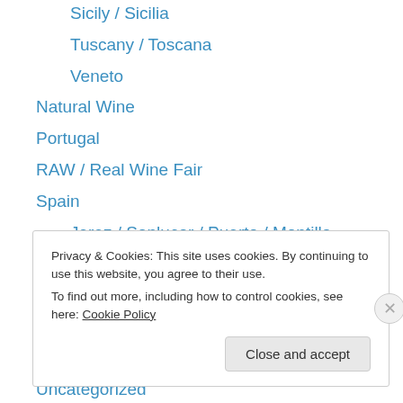Sicily / Sicilia
Tuscany / Toscana
Veneto
Natural Wine
Portugal
RAW / Real Wine Fair
Spain
Jerez / Sanlucar / Puerto / Montilla
Penedes
Priorat
Ribera Del Duero
Rioja
Uncategorized
Privacy & Cookies: This site uses cookies. By continuing to use this website, you agree to their use.
To find out more, including how to control cookies, see here: Cookie Policy
Close and accept